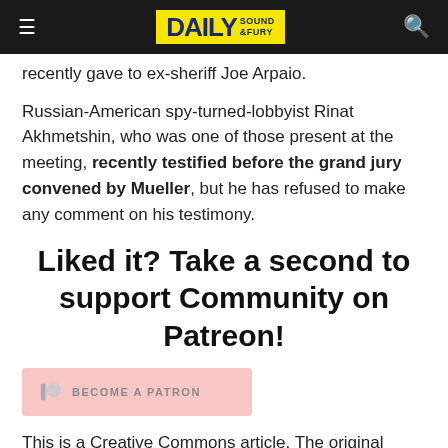Daily Sound & Fury
recently gave to ex-sheriff Joe Arpaio.
Russian-American spy-turned-lobbyist Rinat Akhmetshin, who was one of those present at the meeting, recently testified before the grand jury convened by Mueller, but he has refused to make any comment on his testimony.
Liked it? Take a second to support Community on Patreon!
[Figure (logo): Patreon 'Become a Patron' button in pink/salmon color]
This is a Creative Commons article. The original